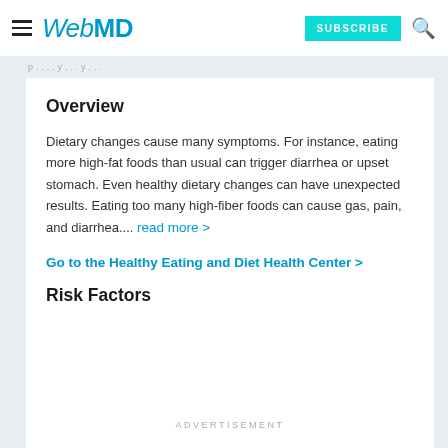WebMD — SUBSCRIBE
...p...y...y...
Overview
Dietary changes cause many symptoms. For instance, eating more high-fat foods than usual can trigger diarrhea or upset stomach. Even healthy dietary changes can have unexpected results. Eating too many high-fiber foods can cause gas, pain, and diarrhea.... read more >
Go to the Healthy Eating and Diet Health Center >
Risk Factors
ADVERTISEMENT